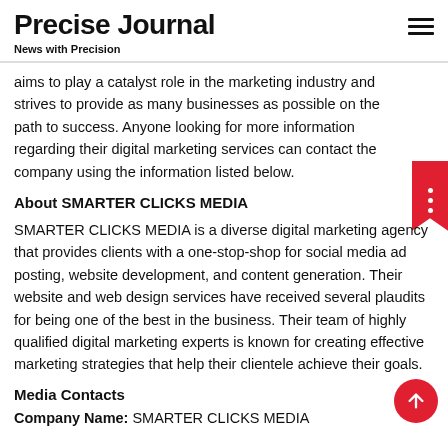Precise Journal
News with Precision
aims to play a catalyst role in the marketing industry and strives to provide as many businesses as possible on the path to success. Anyone looking for more information regarding their digital marketing services can contact the company using the information listed below.
About SMARTER CLICKS MEDIA
SMARTER CLICKS MEDIA is a diverse digital marketing agency that provides clients with a one-stop-shop for social media ad posting, website development, and content generation. Their website and web design services have received several plaudits for being one of the best in the business. Their team of highly qualified digital marketing experts is known for creating effective marketing strategies that help their clientele achieve their goals.
Media Contacts
Company Name: SMARTER CLICKS MEDIA